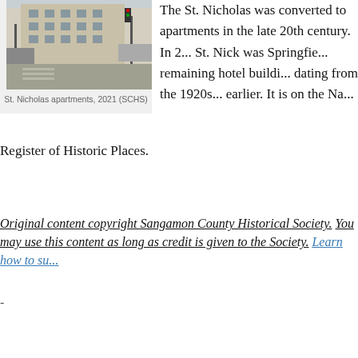[Figure (photo): Street-level photo of St. Nicholas apartments building, 2021]
St. Nicholas apartments, 2021 (SCHS)
The St. Nicholas was converted to apartments in the late 20th century. In 2... St. Nick was Springfield's remaining hotel building dating from the 1920s or earlier. It is on the National Register of Historic Places.
Original content copyright Sangamon County Historical Society. You may use this content as long as credit is given to the Society. Learn how to support the Society.
-